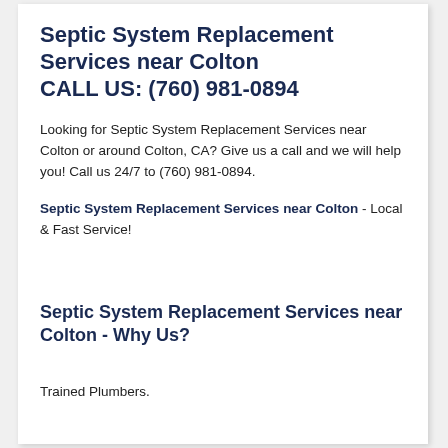Septic System Replacement Services near Colton CALL US: (760) 981-0894
Looking for Septic System Replacement Services near Colton or around Colton, CA? Give us a call and we will help you! Call us 24/7 to (760) 981-0894.
Septic System Replacement Services near Colton - Local & Fast Service!
Septic System Replacement Services near Colton - Why Us?
Trained Plumbers.